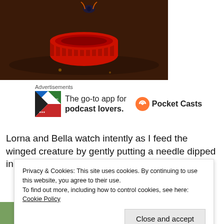[Figure (photo): Close-up photo of a red bottle cap on a dark brown wet surface, with what appears to be a butterfly or insect at the top edge. The cap contains liquid inside.]
[Figure (infographic): Advertisement for Pocket Casts app. Logo on left, text reads 'The go-to app for podcast lovers.' with Pocket Casts branding and icon on right.]
Lorna and Bella watch intently as I feed the winged creature by gently putting a needle dipped in sugar water up to his curled
Privacy & Cookies: This site uses cookies. By continuing to use this website, you agree to their use.
To find out more, including how to control cookies, see here: Cookie Policy
[Figure (photo): Partial photo at bottom showing faces of children, cropped at bottom of page.]